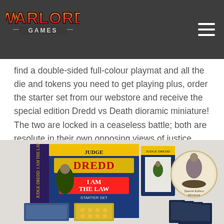Warlord Games
find a double-sided full-colour playmat and all the die and tokens you need to get playing plus, order the starter set from our webstore and receive the special edition Dredd vs Death dioramic miniature! The two are locked in a ceaseless battle; both are resolute in their own opposing views of justice.
[Figure (photo): Judge Dredd 'I Am The Law' starter set box and contents including game books, token sheets, cards, and a Special Edition Miniature of Dredd vs Death diorama]